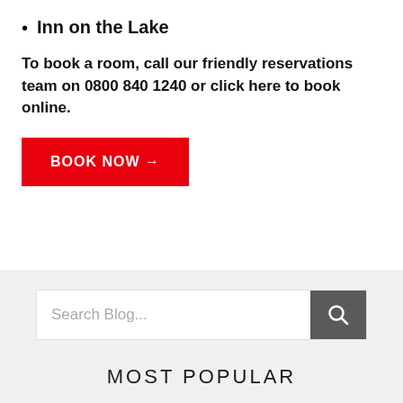Inn on the Lake
To book a room, call our friendly reservations team on 0800 840 1240 or click here to book online.
[Figure (other): Red 'BOOK NOW →' button]
[Figure (other): Search blog input field with magnifying glass button]
MOST POPULAR